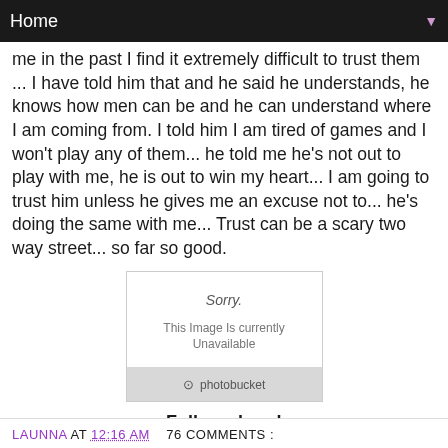Home ▼
me in the past I find it extremely difficult to trust them ... I have told him that and he said he understands, he knows how men can be and he can understand where I am coming from. I told him I am tired of games and I won't play any of them... he told me he's not out to play with me, he is out to win my heart... I am going to trust him unless he gives me an excuse not to... he's doing the same with me... Trust can be a scary two way street... so far so good.
[Figure (other): Photobucket image placeholder showing 'Sorry. This Image Is currently Unavailable']
Follow along!
Facebook // Twitter // Google Plus // Bloglovin // Instagram // Pinterest //
LAUNNA AT 12:16 AM  76 COMMENTS :